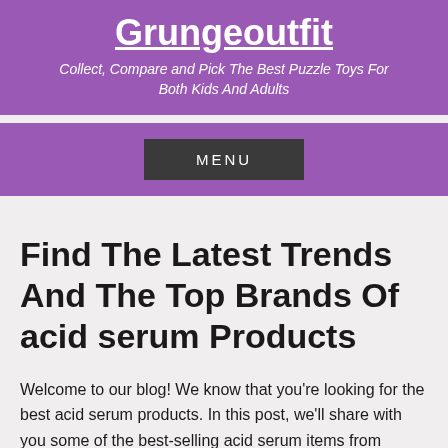Grungeoutfit
Collect, Compare and Pick The Best Puzzle Toys For Both Kids And Adults
MENU
Find The Latest Trends And The Top Brands Of acid serum Products
Welcome to our blog! We know that you're looking for the best acid serum products. In this post, we'll share with you some of the best-selling acid serum items from online.
Do you want to know what is the best acid serum product? If